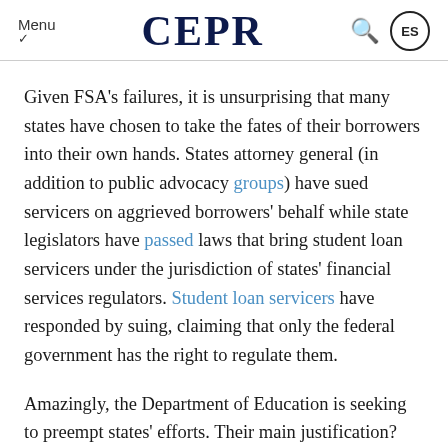Menu  CEPR  🔍  ES
Given FSA's failures, it is unsurprising that many states have chosen to take the fates of their borrowers into their own hands. States attorney general (in addition to public advocacy groups) have sued servicers on aggrieved borrowers' behalf while state legislators have passed laws that bring student loan servicers under the jurisdiction of states' financial services regulators. Student loan servicers have responded by suing, claiming that only the federal government has the right to regulate them.
Amazingly, the Department of Education is seeking to preempt states' efforts. Their main justification? FSA has oversight under control.
All of this begins to make sense when you take a